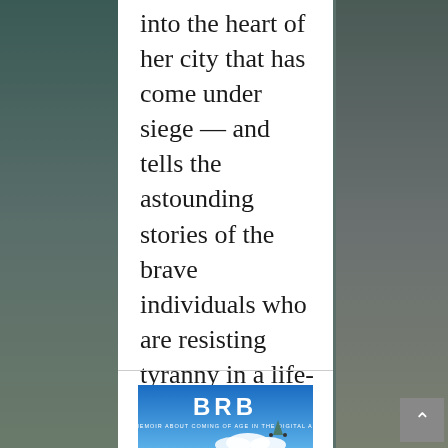into the heart of her city that has come under siege — and tells the astounding stories of the brave individuals who are resisting tyranny in a life-or-death struggle for freedom.
Buy on Amazon
[Figure (illustration): Book cover for 'BRB: A Memoir About Coming of Age in the Digital Age' with a blue sky background and white text, showing the title BRB in large letters and subtitle below, with illustrated figures on a rooftop and clouds.]